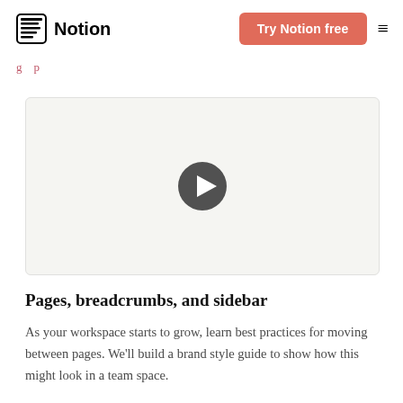Notion — Try Notion free
g p
[Figure (screenshot): Video player with white/light beige background and a dark circular play button in the center]
Pages, breadcrumbs, and sidebar
As your workspace starts to grow, learn best practices for moving between pages. We'll build a brand style guide to show how this might look in a team space.